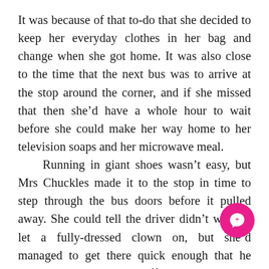It was because of that to-do that she decided to keep her everyday clothes in her bag and change when she got home. It was also close to the time that the next bus was to arrive at the stop around the corner, and if she missed that then she'd have a whole hour to wait before she could make her way home to her television soaps and her microwave meal.

Running in giant shoes wasn't easy, but Mrs Chuckles made it to the stop in time to step through the bus doors before it pulled away. She could tell the driver didn't want to let a fully-dressed clown on, but she'd managed to get there quick enough that he wasn't able to dr[ive] [o]ff without making himself look like a co[mplete] jobsworth. He did have a good moan at her for not